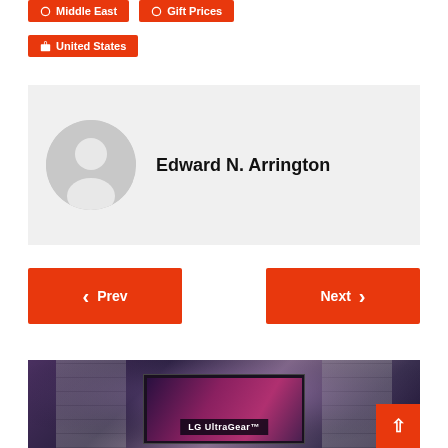Middle East
Gift Prices
United States
[Figure (illustration): Author profile box with gray background, circular avatar placeholder (gray silhouette), and bold name 'Edward N. Arrington']
Edward N. Arrington
[Figure (infographic): Navigation buttons: orange 'Prev' button on left with left chevron, orange 'Next' button on right with right chevron]
[Figure (photo): LG UltraGear monitor advertisement banner with purple/dark sci-fi background and monitor displaying game imagery. 'LG UltraGear' label visible on screen.]